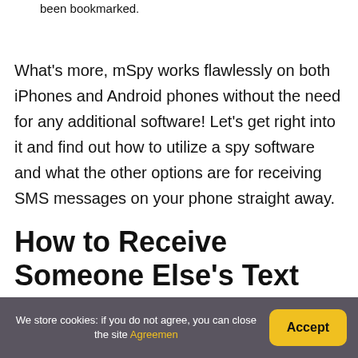been bookmarked.
What's more, mSpy works flawlessly on both iPhones and Android phones without the need for any additional software! Let's get right into it and find out how to utilize a spy software and what the other options are for receiving SMS messages on your phone straight away.
How to Receive Someone Else's Text Messages on Your iPhone?
We store cookies: if you do not agree, you can close the site Agreemen
Accept